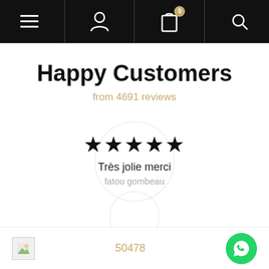[Figure (screenshot): E-commerce website navigation bar with hamburger menu, user profile icon, shopping bag icon with badge showing 0, and search icon on black background]
Happy Customers
from 4691 reviews
★★★★★
Très jolie merci
fatou gombeau
50478